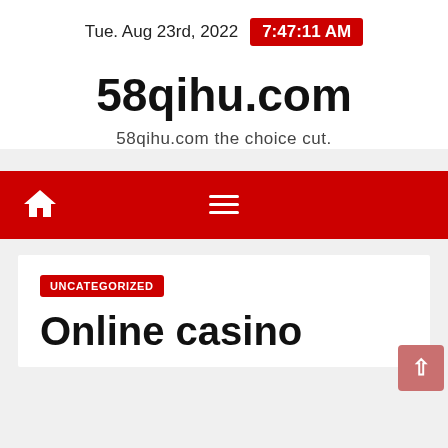Tue. Aug 23rd, 2022  7:47:11 AM
58qihu.com
58qihu.com the choice cut.
[Figure (other): Red navigation bar with white home icon on the left and hamburger menu icon in the center]
UNCATEGORIZED
Online casino